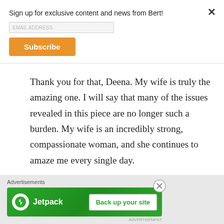Sign up for exclusive content and news from Bert!
Subscribe
Thank you for that, Deena. My wife is truly the amazing one. I will say that many of the issues revealed in this piece are no longer such a burden. My wife is an incredibly strong, compassionate woman, and she continues to amaze me every single day.
Advertisements
[Figure (screenshot): Jetpack advertisement banner with green background showing logo and 'Back up your site' button]